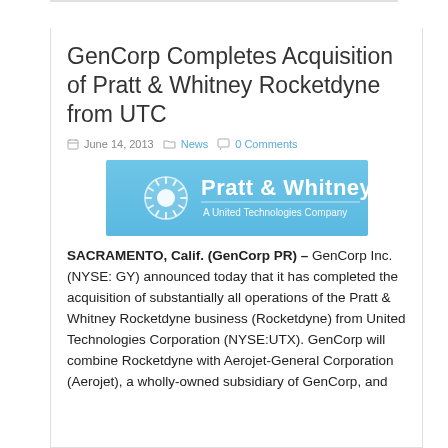GenCorp Completes Acquisition of Pratt & Whitney Rocketdyne from UTC
June 14, 2013  News  0 Comments
[Figure (logo): Pratt & Whitney A United Technologies Company logo on blue sky background]
SACRAMENTO, Calif. (GenCorp PR) – GenCorp Inc. (NYSE: GY) announced today that it has completed the acquisition of substantially all operations of the Pratt & Whitney Rocketdyne business (Rocketdyne) from United Technologies Corporation (NYSE:UTX). GenCorp will combine Rocketdyne with Aerojet-General Corporation (Aerojet), a wholly-owned subsidiary of GenCorp, and